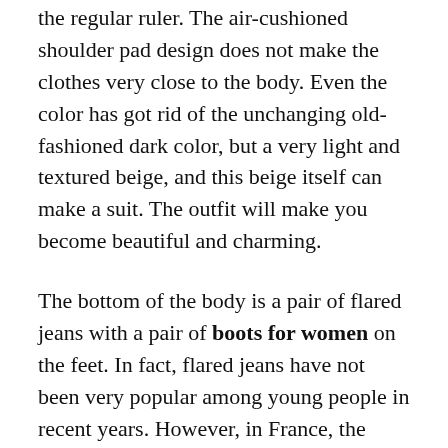the regular ruler. The air-cushioned shoulder pad design does not make the clothes very close to the body. Even the color has got rid of the unchanging old-fashioned dark color, but a very light and textured beige, and this beige itself can make a suit. The outfit will make you become beautiful and charming.
The bottom of the body is a pair of flared jeans with a pair of boots for women on the feet. In fact, flared jeans have not been very popular among young people in recent years. However, in France, the craze for flared jeans has never ceased to be popular, and it is still the favorite item of French women. Because the flared trousers are designed with a loose top and bottom, they can cover the shortcomings of